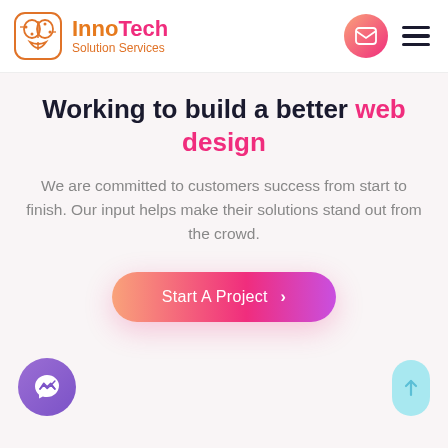[Figure (logo): InnoTech Solution Services logo with brain/circuit icon in orange outline, company name in orange and pink, subtitle in orange]
Working to build a better web design
We are committed to customers success from start to finish. Our input helps make their solutions stand out from the crowd.
Start A Project >
[Figure (illustration): Purple circular Facebook Messenger chat button in bottom left corner]
[Figure (illustration): Light blue rounded scroll-to-top button with upward arrow in bottom right corner]